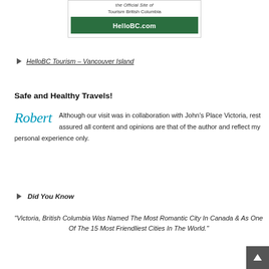[Figure (logo): HelloBC.com advertisement banner with green box and text 'Tourism British Columbia']
HelloBC Tourism – Vancouver Island
Safe and Healthy Travels!
Although our visit was in collaboration with John's Place Victoria, rest assured all content and opinions are that of the author and reflect my personal experience only.
Did You Know
“Victoria, British Columbia Was Named The Most Romantic City In Canada & As One Of The 15 Most Friendliest Cities In The World.”